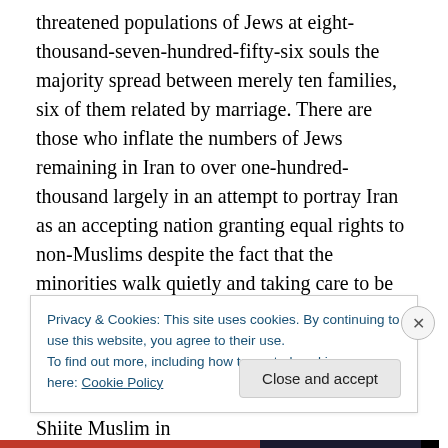threatened populations of Jews at eight-thousand-seven-hundred-fifty-six souls the majority spread between merely ten families, six of them related by marriage. There are those who inflate the numbers of Jews remaining in Iran to over one-hundred-thousand largely in an attempt to portray Iran as an accepting nation granting equal rights to non-Muslims despite the fact that the minorities walk quietly and taking care to be aware of their surroundings at all times and making sure to keep their heads bowed and their gaze fixates on the ground before them and to never under any circumstance stare any Shiite Muslim in
Privacy & Cookies: This site uses cookies. By continuing to use this website, you agree to their use.
To find out more, including how to control cookies, see here: Cookie Policy